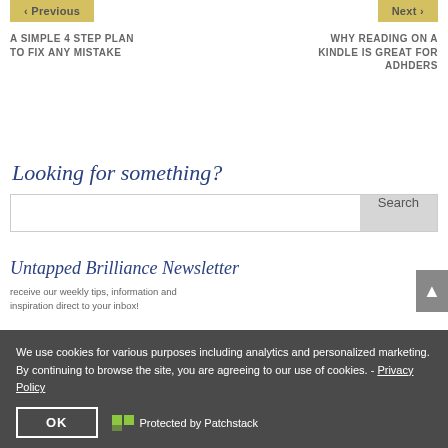‹ Previous
Next ›
A SIMPLE 4 STEP PLAN TO FIX ANY MISTAKE
WHY READING ON A KINDLE IS GREAT FOR ADHDERS
Looking for something?
Search
Untapped Brilliance Newsletter
We use cookies for various purposes including analytics and personalized marketing. By continuing to browse the site, you are agreeing to our use of cookies. - Privacy Policy
OK
Protected by Patchstack